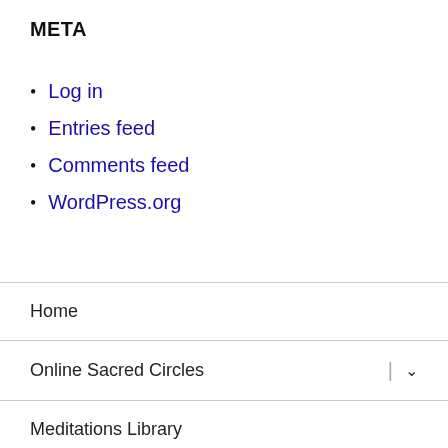META
Log in
Entries feed
Comments feed
WordPress.org
Home
Online Sacred Circles
Meditations Library
Jung at Harp
About